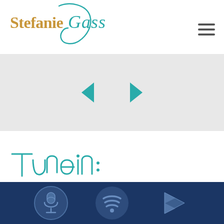[Figure (logo): Stefanie Gass logo with teal cursive script and golden-brown sans serif text]
[Figure (illustration): Navigation hamburger menu icon (three horizontal lines)]
[Figure (illustration): Carousel navigation arrows — left arrow and right arrow in teal]
[Figure (illustration): Tune in: cursive teal handwritten text label]
[Figure (illustration): Dark navy blue bar with three podcast platform icons: Podcast (microphone), Spotify (sound waves), Google Play (triangle play button)]